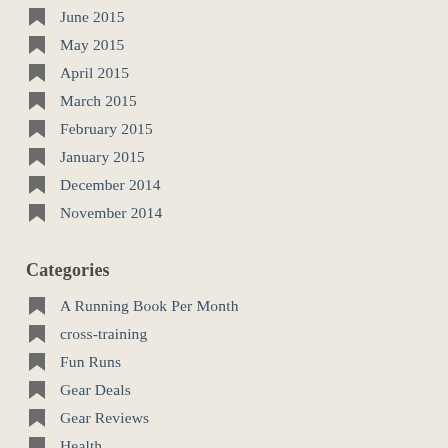June 2015
May 2015
April 2015
March 2015
February 2015
January 2015
December 2014
November 2014
Categories
A Running Book Per Month
cross-training
Fun Runs
Gear Deals
Gear Reviews
Health